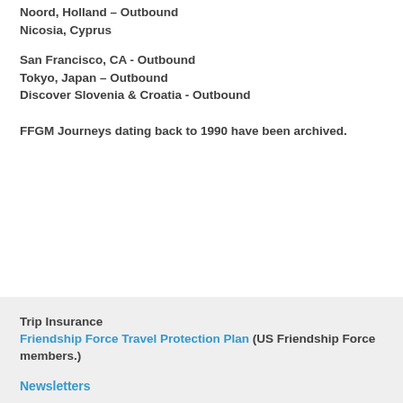Noord, Holland – Outbound
Nicosia, Cyprus
San Francisco, CA - Outbound
Tokyo, Japan – Outbound
Discover Slovenia & Croatia - Outbound
FFGM Journeys dating back to 1990 have been archived.
Trip Insurance
Friendship Force Travel Protection Plan (US Friendship Force members.)
Newsletters